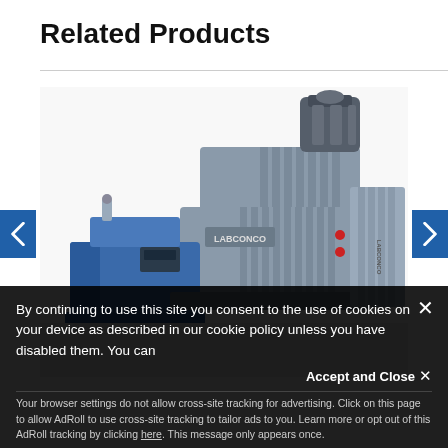Related Products
[Figure (photo): Industrial laboratory vacuum pumps (Labconco brand) with blue, gray, and white components, showing multiple pump units clustered together with cooling fins and fittings visible]
By continuing to use this site you consent to the use of cookies on your device as described in our cookie policy unless you have disabled them. You can change your cookie settings at any time but parts of our site will not function correctly without them.
Accept and Close ✕
Your browser settings do not allow cross-site tracking for advertising. Click on this page to allow AdRoll to use cross-site tracking to tailor ads to you. Learn more or opt out of this AdRoll tracking by clicking here. This message only appears once.